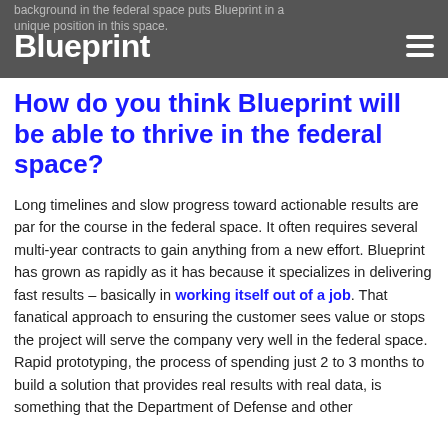background in the federal space puts Blueprint in a Blueprint unique position in this space.
How do you think Blueprint will be able to thrive in the federal space?
Long timelines and slow progress toward actionable results are par for the course in the federal space. It often requires several multi-year contracts to gain anything from a new effort. Blueprint has grown as rapidly as it has because it specializes in delivering fast results – basically in working itself out of a job. That fanatical approach to ensuring the customer sees value or stops the project will serve the company very well in the federal space. Rapid prototyping, the process of spending just 2 to 3 months to build a solution that provides real results with real data, is something that the Department of Defense and other